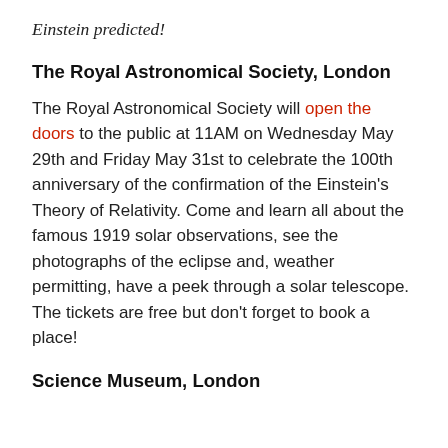Einstein predicted!
The Royal Astronomical Society, London
The Royal Astronomical Society will open the doors to the public at 11AM on Wednesday May 29th and Friday May 31st to celebrate the 100th anniversary of the confirmation of the Einstein's Theory of Relativity. Come and learn all about the famous 1919 solar observations, see the photographs of the eclipse and, weather permitting, have a peek through a solar telescope. The tickets are free but don't forget to book a place!
Science Museum, London